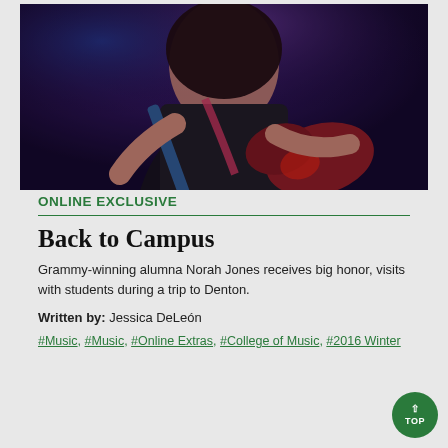[Figure (photo): A woman playing an electric guitar on stage under blue and purple stage lighting, wearing a black outfit with a guitar strap.]
ONLINE EXCLUSIVE
Back to Campus
Grammy-winning alumna Norah Jones receives big honor, visits with students during a trip to Denton.
Written by: Jessica DeLeón
#Music, #Music, #Online Extras, #College of Music, #2016 Winter